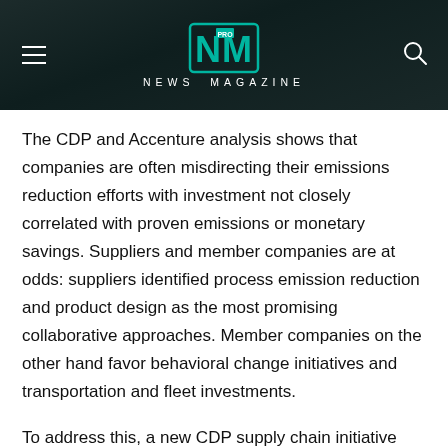NEWS MAGAZINE
The CDP and Accenture analysis shows that companies are often misdirecting their emissions reduction efforts with investment not closely correlated with proven emissions or monetary savings. Suppliers and member companies are at odds: suppliers identified process emission reduction and product design as the most promising collaborative approaches. Member companies on the other hand favor behavioral change initiatives and transportation and fleet investments.
To address this, a new CDP supply chain initiative has been launched to incentivize suppliers: Action Exchange2 will drive targeted action on the most cost effective emissions reductions. Companies that have already joined the initiative and are asking their suppliers to participate include Bank of